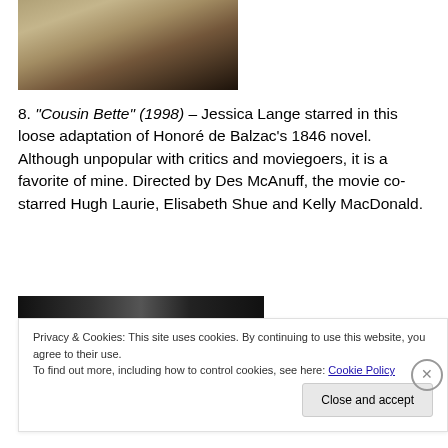[Figure (photo): Partial photo of costumed figures on dark background, cropped at top]
8. “Cousin Bette” (1998) – Jessica Lange starred in this loose adaptation of Honoré de Balzac’s 1846 novel. Although unpopular with critics and moviegoers, it is a favorite of mine. Directed by Des McAnuff, the movie co-starred Hugh Laurie, Elisabeth Shue and Kelly MacDonald.
[Figure (photo): Partial dark photo, bottom portion of another image]
Privacy & Cookies: This site uses cookies. By continuing to use this website, you agree to their use.
To find out more, including how to control cookies, see here: Cookie Policy
Close and accept